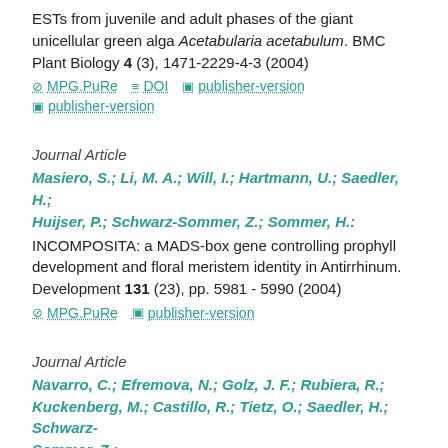ESTs from juvenile and adult phases of the giant unicellular green alga Acetabularia acetabulum. BMC Plant Biology 4 (3), 1471-2229-4-3 (2004)
MPG.PuRe | DOI | publisher-version | publisher-version
Journal Article
Masiero, S.; Li, M. A.; Will, I.; Hartmann, U.; Saedler, H.; Huijser, P.; Schwarz-Sommer, Z.; Sommer, H.: INCOMPOSITA: a MADS-box gene controlling prophyll development and floral meristem identity in Antirrhinum. Development 131 (23), pp. 5981 - 5990 (2004)
MPG.PuRe | publisher-version
Journal Article
Navarro, C.; Efremova, N.; Golz, J. F.; Rubiera, R.; Kuckenberg, M.; Castillo, R.; Tietz, O.; Saedler, H.; Schwarz-Sommer, Z.: Molecular and genetic interactions between...